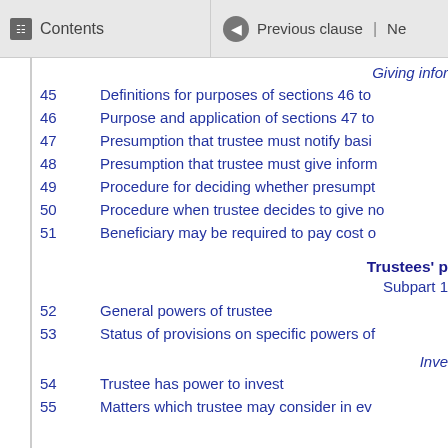Contents | Previous clause
Giving infor…
45   Definitions for purposes of sections 46 to…
46   Purpose and application of sections 47 to…
47   Presumption that trustee must notify basi…
48   Presumption that trustee must give inform…
49   Procedure for deciding whether presumpt…
50   Procedure when trustee decides to give no…
51   Beneficiary may be required to pay cost o…
Trustees' p…
Subpart 1…
52   General powers of trustee
53   Status of provisions on specific powers of…
Inve…
54   Trustee has power to invest
55   Matters which trustee may consider in ev…